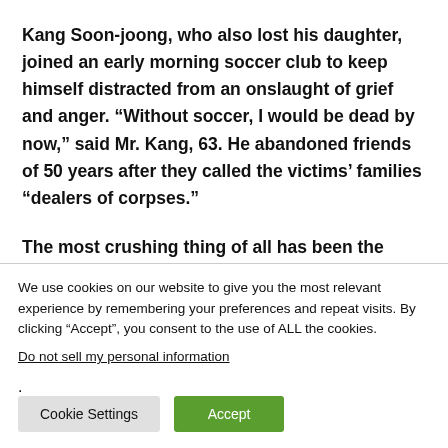Kang Soon-joong, who also lost his daughter, joined an early morning soccer club to keep himself distracted from an onslaught of grief and anger. “Without soccer, I would be dead by now,” said Mr. Kang, 63. He abandoned friends of 50 years after they called the victims’ families “dealers of corpses.”
The most crushing thing of all has been the sense of guilt among parents who feel they failed to protect their children and are haunted by the memories of how they died.
We use cookies on our website to give you the most relevant experience by remembering your preferences and repeat visits. By clicking “Accept”, you consent to the use of ALL the cookies.
Do not sell my personal information.